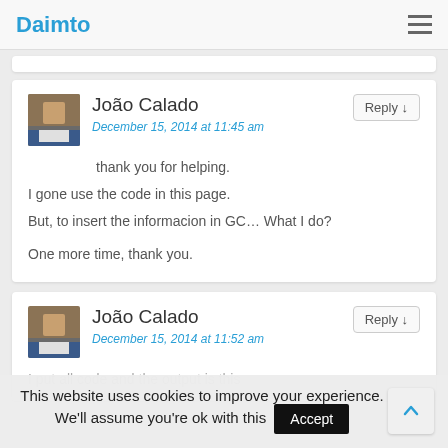Daimto
João Calado
December 15, 2014 at 11:45 am
thank you for helping.
I gone use the code in this page.
But, to insert the informacion in GC… What I do?
One more time, thank you.
João Calado
December 15, 2014 at 11:52 am
I put all code and the output is this
This website uses cookies to improve your experience. We'll assume you're ok with this  Accept